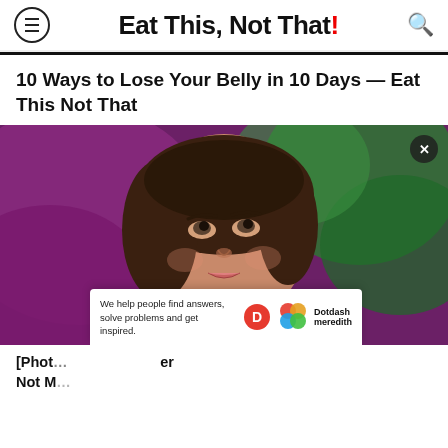Eat This, Not That!
10 Ways to Lose Your Belly in 10 Days — Eat This Not That
[Figure (photo): Close-up portrait of a young woman with brown hair looking upward, against a purple and green bokeh background. A Dotdash Meredith ad banner overlays the bottom of the image.]
[Photo ... er Not M...